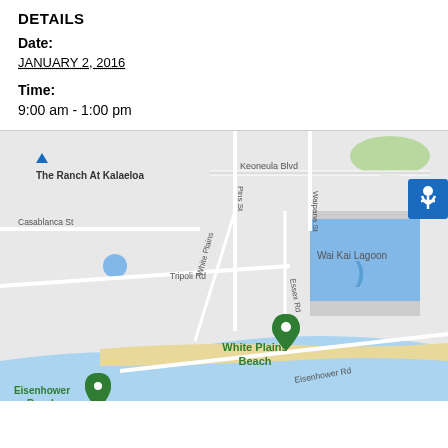DETAILS
Date:
JANUARY 2, 2016
Time:
9:00 am - 1:00 pm
[Figure (map): Google Map showing White Plains Beach area in Kalaeloa, Hawaii. Shows streets including Keoneula Blvd, Waipana St, Pins St, Casablanca St, Tripoli Rd, White Plains, Essex Rd, Eisenhower Rd. Landmarks include The Ranch At Kalaeloa, Wai Kai Lagoon, White Plains Beach, Eisenhower Beach.]